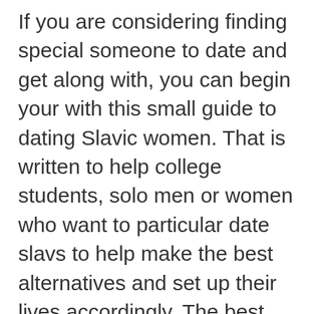If you are considering finding special someone to date and get along with, you can begin your with this small guide to dating Slavic women. That is written to help college students, solo men or women who want to particular date slavs to help make the best alternatives and set up their lives accordingly. The best methods which can be used include ethnic counseling, https://brides-for-you.com/belarusian-mail-order-wives/ observing Slavic customs, browsing family members, making personal comes to visit, studying lyrics of melodies related to slavs, learning how to speak a few thoughts of a